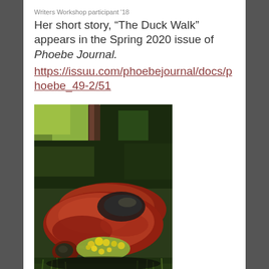Writers Workshop participant '18
Her short story, “The Duck Walk” appears in the Spring 2020 issue of Phoebe Journal. https://issuu.com/phoebejournal/docs/phoebe_49-2/51
[Figure (photo): An old rusted red Volkswagen Beetle car body lying on its side overgrown with yellow flowers and green grass, with trees in the background.]
Cornelius Eady